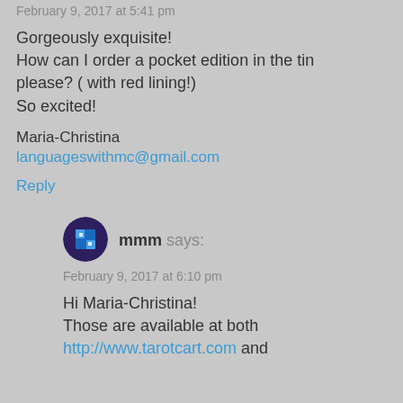February 9, 2017 at 5:41 pm
Gorgeously exquisite!
How can I order a pocket edition in the tin please? ( with red lining!)
So excited!
Maria-Christina
languageswithmc@gmail.com
Reply
[Figure (illustration): User avatar icon for mmm - circular dark purple/blue avatar with a pixel-style face icon]
mmm says:
February 9, 2017 at 6:10 pm
Hi Maria-Christina!
Those are available at both http://www.tarotcart.com and